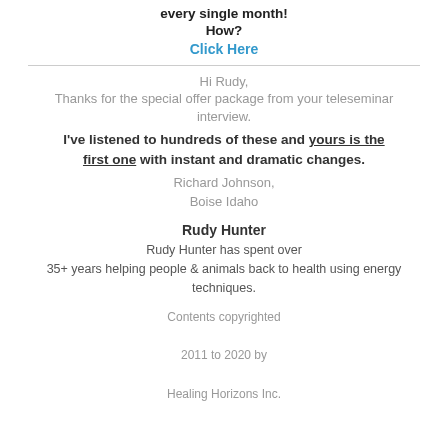every single month!
How?
Click Here
Hi Rudy,
Thanks for the special offer package from your teleseminar interview.
I've listened to hundreds of these and yours is the first one with instant and dramatic changes.
Richard Johnson,
Boise Idaho
Rudy Hunter
Rudy Hunter has spent over
35+ years helping people & animals back to health using energy techniques.
Contents copyrighted
2011 to 2020 by
Healing Horizons Inc.